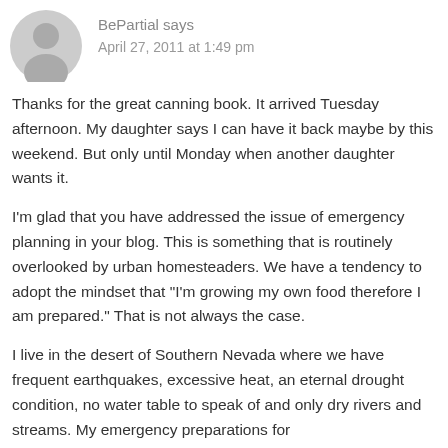[Figure (illustration): Gray circular avatar/profile icon with a silhouette of a person]
BePartial says
April 27, 2011 at 1:49 pm
Thanks for the great canning book. It arrived Tuesday afternoon. My daughter says I can have it back maybe by this weekend. But only until Monday when another daughter wants it.
I'm glad that you have addressed the issue of emergency planning in your blog. This is something that is routinely overlooked by urban homesteaders. We have a tendency to adopt the mindset that "I'm growing my own food therefore I am prepared." That is not always the case.
I live in the desert of Southern Nevada where we have frequent earthquakes, excessive heat, an eternal drought condition, no water table to speak of and only dry rivers and streams. My emergency preparations for